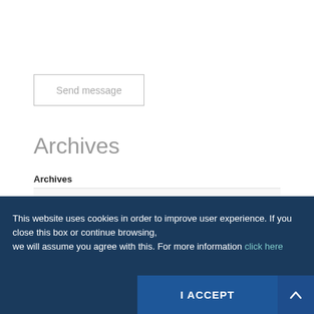Send message
Archives
Archives
Select Month
This website uses cookies in order to improve user experience. If you close this box or continue browsing, we will assume you agree with this. For more information click here
I ACCEPT